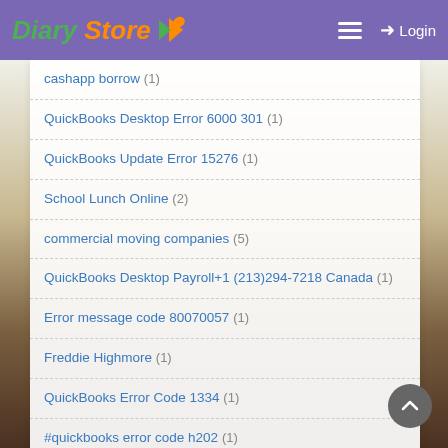Diary Store — Login
cashapp borrow (1)
QuickBooks Desktop Error 6000 301 (1)
QuickBooks Update Error 15276 (1)
School Lunch Online (2)
commercial moving companies (5)
QuickBooks Desktop Payroll+1 (213)294-7218 Canada (1)
Error message code 80070057 (1)
Freddie Highmore (1)
QuickBooks Error Code 1334 (1)
#quickbooks error code h202 (1)
Geophones Dallas TX (4)
benefits of IVF (1)